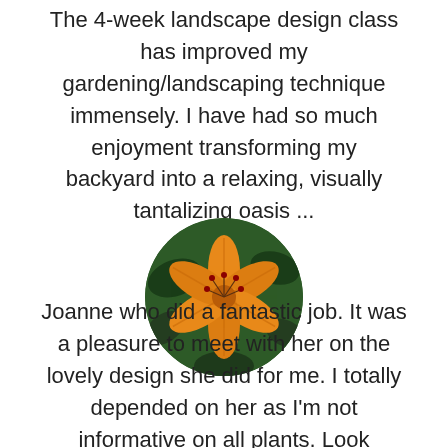The 4-week landscape design class has improved my gardening/landscaping technique immensely. I have had so much enjoyment transforming my backyard into a relaxing, visually tantalizing oasis ...
[Figure (photo): Circular photo of an orange lily flower with dark green foliage in the background]
Joanne who did a fantastic job. It was a pleasure to meet with her on the lovely design she did for me. I totally depended on her as I'm not informative on all plants. Look forward to the purchase of the plants and trees from you when we arrange with the landscaper. Thank you again...